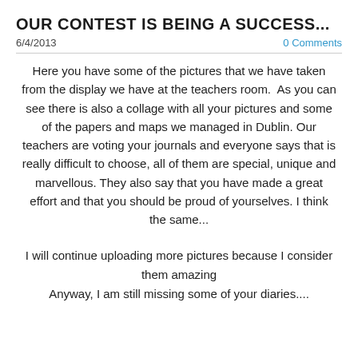OUR CONTEST IS BEING A SUCCESS...
6/4/2013
0 Comments
Here you have some of the pictures that we have taken from the display we have at the teachers room.  As you can see there is also a collage with all your pictures and some of the papers and maps we managed in Dublin. Our teachers are voting your journals and everyone says that is really difficult to choose, all of them are special, unique and marvellous. They also say that you have made a great effort and that you should be proud of yourselves. I think the same...
I will continue uploading more pictures because I consider them amazing
Anyway, I am still missing some of your diaries....